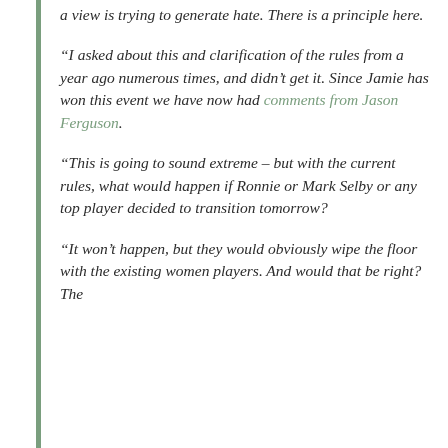a view is trying to generate hate. There is a principle here.
“I asked about this and clarification of the rules from a year ago numerous times, and didn’t get it. Since Jamie has won this event we have now had comments from Jason Ferguson.
“This is going to sound extreme – but with the current rules, what would happen if Ronnie or Mark Selby or any top player decided to transition tomorrow?
“It won’t happen, but they would obviously wipe the floor with the existing women players. And would that be right? The